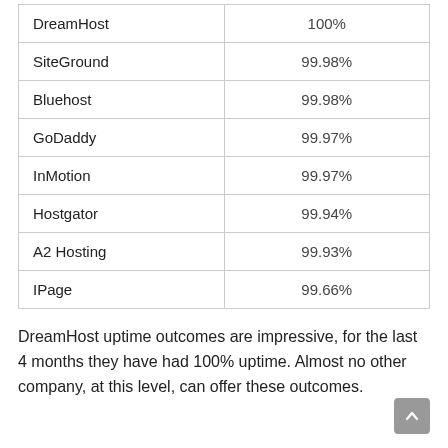| DreamHost | 100% |
| SiteGround | 99.98% |
| Bluehost | 99.98% |
| GoDaddy | 99.97% |
| InMotion | 99.97% |
| Hostgator | 99.94% |
| A2 Hosting | 99.93% |
| IPage | 99.66% |
DreamHost uptime outcomes are impressive, for the last 4 months they have had 100% uptime. Almost no other company, at this level, can offer these outcomes.